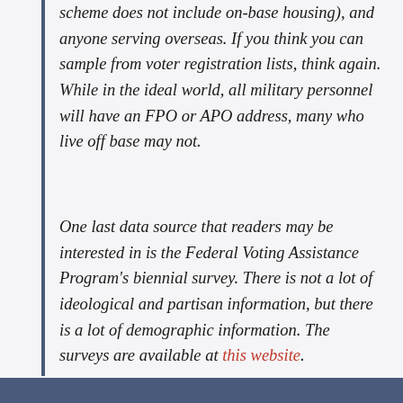scheme does not include on-base housing), and anyone serving overseas. If you think you can sample from voter registration lists, think again. While in the ideal world, all military personnel will have an FPO or APO address, many who live off base may not.
One last data source that readers may be interested in is the Federal Voting Assistance Program's biennial survey. There is not a lot of ideological and partisan information, but there is a lot of demographic information. The surveys are available at this website.